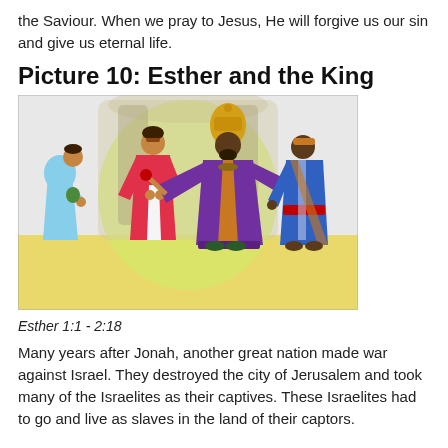the Saviour. When we pray to Jesus, He will forgive us our sin and give us eternal life.
Picture 10: Esther and the King
[Figure (illustration): A biblical illustration showing Esther and the King. A king in purple robes and gold crown extends a scepter toward a woman in a pink/red robe. A servant in blue stands behind the king. A second bowing figure in light blue is at the left. The scene is set in a yellow-floored hall with arched columns and a green-yellow glow behind the figures.]
Esther 1:1 - 2:18
Many years after Jonah, another great nation made war against Israel. They destroyed the city of Jerusalem and took many of the Israelites as their captives. These Israelites had to go and live as slaves in the land of their captors.